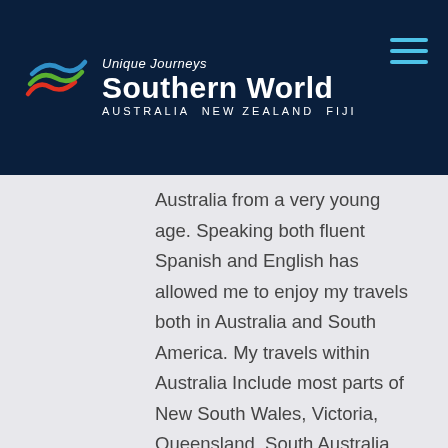[Figure (logo): Southern World Unique Journeys logo with wave design and hamburger menu icon on dark navy background. Text reads: Unique Journeys, Southern World, AUSTRALIA NEW ZEALAND FIJI]
Australia from a very young age. Speaking both fluent Spanish and English has allowed me to enjoy my travels both in Australia and South America. My travels within Australia Include most parts of New South Wales, Victoria, Queensland, South Australia, Western Australia, Tasmania and Canberra whilst also having the luxury to travel to South and Central America each year to places like Argentina, Brazil, Chile,